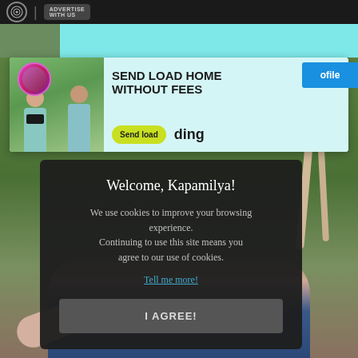ADVERTISE WITH US
[Figure (photo): Advertisement banner: two young girls in school uniforms looking at a phone, with text 'SEND LOAD HOME WITHOUT FEES' and a 'Send load' button with 'ding' logo on cyan background]
Welcome, Kapamilya!
We use cookies to improve your browsing experience. Continuing to use this site means you agree to our use of cookies.
Tell me more!
I AGREE!